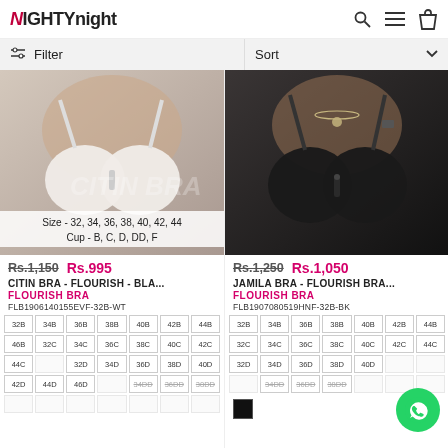NIGHTYnight
Filter | Sort
[Figure (photo): White bra product photo (CITIN BRA - FLOURISH) with size info: Size - 32, 34, 36, 38, 40, 42, 44 / Cup - B, C, D, DD, F]
Rs.1,150  Rs.995
CITIN BRA - FLOURISH - BLA...
FLOURISH BRA
FLB1906140155EVF-32B-WT
| 32B | 34B | 36B | 38B | 40B | 42B | 44B |
| 46B | 32C | 34C | 36C | 38C | 40C | 42C |
| 44C |  | 32D | 34D | 36D | 38D | 40D |
| 42D | 44D | 46D |  | 34DD | 36DD | 38DD |
|  |  |  |  |  |  |  |
[Figure (photo): Black bra product photo (JAMILA BRA - FLOURISH BRA)]
Rs.1,250  Rs.1,050
JAMILA BRA - FLOURISH BRA...
FLOURISH BRA
FLB1907080519HNF-32B-BK
| 32B | 34B | 36B | 38B | 40B | 42B | 44B |
| 32C | 34C | 36C | 38C | 40C | 42C | 44C |
| 32D | 34D | 36D | 38D | 40D |  |  |
|  | 34DD | 36DD | 38DD |  |  |  |